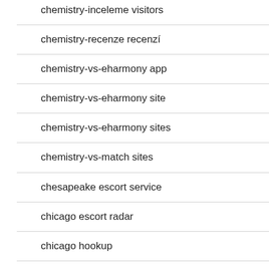chemistry-inceleme visitors
chemistry-recenze recenzí
chemistry-vs-eharmony app
chemistry-vs-eharmony site
chemistry-vs-eharmony sites
chemistry-vs-match sites
chesapeake escort service
chicago escort radar
chicago hookup
chico escort
chico escort service